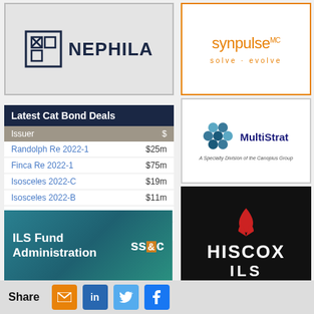[Figure (logo): Nephila logo with N icon and bold text]
[Figure (logo): Synpulse MC logo with orange text and solve·evolve tagline]
| Latest Cat Bond Deals |  |
| --- | --- |
| Issuer | $ |
| Randolph Re 2022-1 | $25m |
| Finca Re 2022-1 | $75m |
| Isosceles 2022-C | $19m |
| Isosceles 2022-B | $11m |
| Isosceles 2022-A | $60.5m |
View all catastrophe bonds.
[Figure (logo): MultiStrat A Specialty Division of the Canopius Group logo with blue hexagon icons]
[Figure (logo): Hiscox ILS logo white text on black background with red fleur-de-lis]
[Figure (logo): SS&C ILS Fund Administration logo on teal background]
[Figure (logo): Magenta background with white arrow logo]
Share